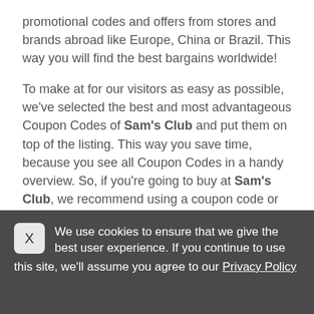promotional codes and offers from stores and brands abroad like Europe, China or Brazil. This way you will find the best bargains worldwide!
To make at for our visitors as easy as possible, we've selected the best and most advantageous Coupon Codes of Sam's Club and put them on top of the listing. This way you save time, because you see all Coupon Codes in a handy overview. So, if you're going to buy at Sam's Club, we recommend using a coupon code or offer from our website, so you can enjoy more online shopping! And the most beautiful of everything? All of our Coupon Codes can be
We use cookies to ensure that we give the best user experience. If you continue to use this site, we'll assume you agree to our Privacy Policy